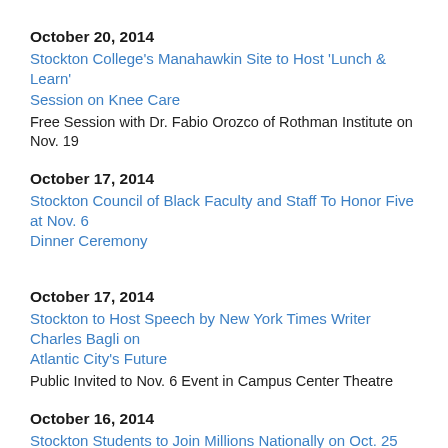October 20, 2014
Stockton College's Manahawkin Site to Host 'Lunch & Learn' Session on Knee Care
Free Session with Dr. Fabio Orozco of Rothman Institute on Nov. 19
October 17, 2014
Stockton Council of Black Faculty and Staff To Honor Five at Nov. 6 Dinner Ceremony
October 17, 2014
Stockton to Host Speech by New York Times Writer Charles Bagli on Atlantic City's Future
Public Invited to Nov. 6 Event in Campus Center Theatre
October 16, 2014
Stockton Students to Join Millions Nationally on Oct. 25 for 'Make A Difference Day'
Volunteer Projects to be Held in Atlantic and Ocean Counties
October 15, 2014